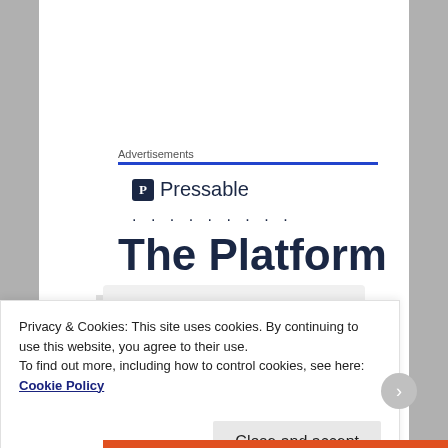Advertisements
[Figure (logo): Pressable logo with shield icon and dotted line below]
The Platform
[Figure (illustration): Card with avatar/profile photo placeholder]
Privacy & Cookies: This site uses cookies. By continuing to use this website, you agree to their use.
To find out more, including how to control cookies, see here: Cookie Policy
Close and accept